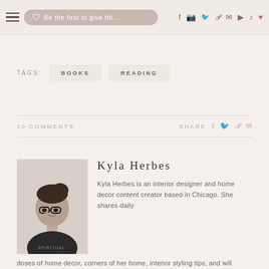Be the first to give this... [navigation bar with hamburger menu, search bar, and social icons: f, instagram, twitter, pinterest, mail, youtube, tiktok, heart]
TAGS: BOOKS READING
10 COMMENTS   SHARE f twitter pinterest mail
[Figure (photo): Black and white portrait photo of Kyla Herbes, a woman with glasses and dark hair in an updo, resting her chin on her hand, wearing a dark top with 'SPIRITUAL' text visible]
Kyla Herbes
Kyla Herbes is an interior designer and home decor content creator based in Chicago. She shares daily doses of home decor, corners of her home, interior styling tips, and will inspire you to do it yourself. House Of Hipsters has been featured in